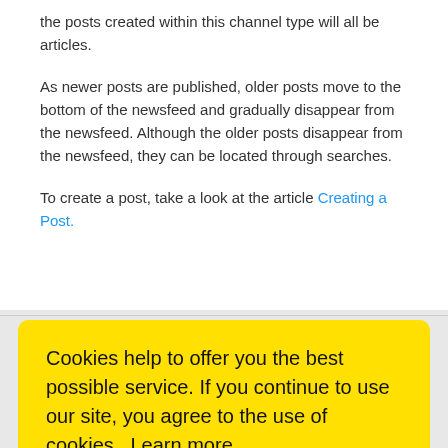the posts created within this channel type will all be articles.
As newer posts are published, older posts move to the bottom of the newsfeed and gradually disappear from the newsfeed. Although the older posts disappear from the newsfeed, they can be located through searches.
To create a post, take a look at the article Creating a Post.
Cookies help to offer you the best possible service. If you continue to use our site, you agree to the use of cookies. Learn more
OK